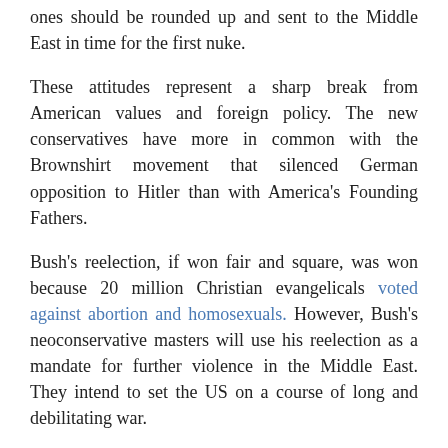ones should be rounded up and sent to the Middle East in time for the first nuke.
These attitudes represent a sharp break from American values and foreign policy. The new conservatives have more in common with the Brownshirt movement that silenced German opposition to Hitler than with America's Founding Fathers.
Bush's reelection, if won fair and square, was won because 20 million Christian evangelicals voted against abortion and homosexuals. However, Bush's neoconservative masters will use his reelection as a mandate for further violence in the Middle East. They intend to set the US on a course of long and debilitating war.
There is no one left in the Bush administration, the CIA, or the military to stop them.
COPYRIGHT CREATORS SYNDICATE, INC.